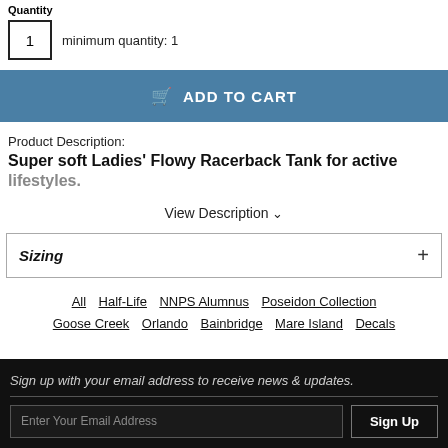Quantity
1   minimum quantity: 1
ADD TO CART
Product Description:
Super soft Ladies' Flowy Racerback Tank for active lifestyles.
View Description
Sizing +
All
Half-Life
NNPS Alumnus
Poseidon Collection
Goose Creek
Orlando
Bainbridge
Mare Island
Decals
Sign up with your email address to receive news & updates.
Enter Your Email Address
Sign Up